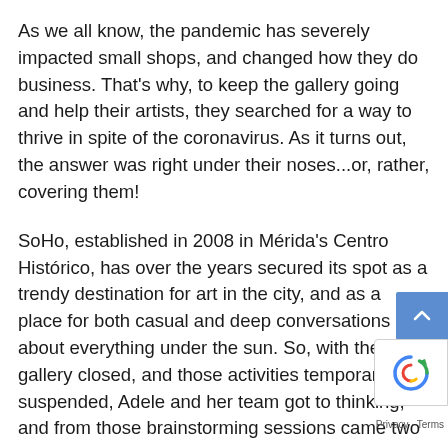As we all know, the pandemic has severely impacted small shops, and changed how they do business. That's why, to keep the gallery going and help their artists, they searched for a way to thrive in spite of the coronavirus. As it turns out, the answer was right under their noses...or, rather, covering them!
SoHo, established in 2008 in Mérida's Centro Histórico, has over the years secured its spot as a trendy destination for art in the city, and as a place for both casual and deep conversations about everything under the sun. So, with the gallery closed, and those activities temporarily suspended, Adele and her team got to thinking, and from those brainstorming sessions came two very distinct ideas.
That's how